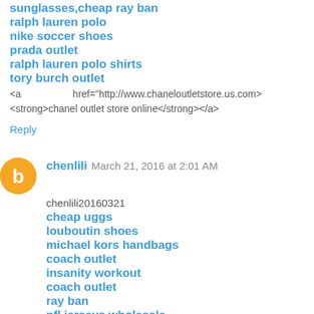sunglasses,cheap ray ban
ralph lauren polo
nike soccer shoes
prada outlet
ralph lauren polo shirts
tory burch outlet
<a                    href="http://www.chaneloutletstore.us.com>
<strong>chanel outlet store online</strong></a>
Reply
chenlili  March 21, 2016 at 2:01 AM
chenlili20160321
cheap uggs
louboutin shoes
michael kors handbags
coach outlet
insanity workout
coach outlet
ray ban
nfl jerseys wholesale
coach factory outlet